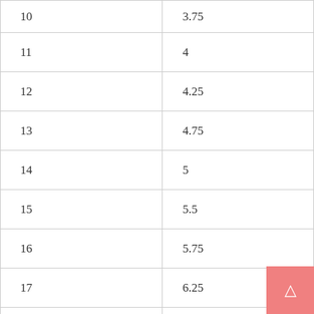| 10 | 3.75 |
| 11 | 4 |
| 12 | 4.25 |
| 13 | 4.75 |
| 14 | 5 |
| 15 | 5.5 |
| 16 | 5.75 |
| 17 | 6.25 |
| 18 | 6.5 |